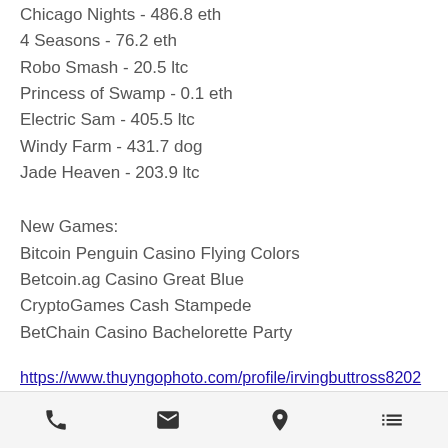Chicago Nights - 486.8 eth
4 Seasons - 76.2 eth
Robo Smash - 20.5 ltc
Princess of Swamp - 0.1 eth
Electric Sam - 405.5 ltc
Windy Farm - 431.7 dog
Jade Heaven - 203.9 ltc
New Games:
Bitcoin Penguin Casino Flying Colors
Betcoin.ag Casino Great Blue
CryptoGames Cash Stampede
BetChain Casino Bachelorette Party
https://www.thuyngophoto.com/profile/irvingbuttross8202569/profile
https://www.hellotexasusa.net/profile/richieklich19918255/profile
https://www.tofawug.ca/profile/rolfmaclob176...